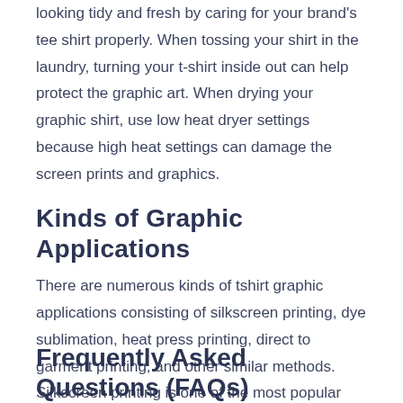looking tidy and fresh by caring for your brand's tee shirt properly. When tossing your shirt in the laundry, turning your t-shirt inside out can help protect the graphic art. When drying your graphic shirt, use low heat dryer settings because high heat settings can damage the screen prints and graphics.
Kinds of Graphic Applications
There are numerous kinds of tshirt graphic applications consisting of silkscreen printing, dye sublimation, heat press printing, direct to garment printing, and other similar methods. Silkscreen printing is one of the most popular and typical methods for designing NWM Funny Sarcastic Novelty Tees tee shirts.
Frequently Asked Questions (FAQs)